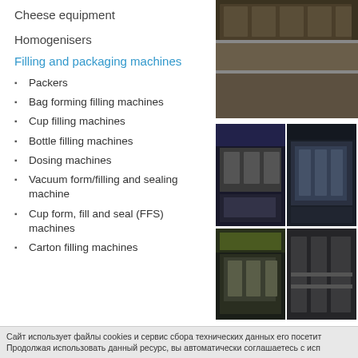Cheese equipment
Homogenisers
Filling and packaging machines
Packers
Bag forming filling machines
Cup filling machines
Bottle filling machines
Dosing machines
Vacuum form/filling and sealing machine
Cup form, fill and seal (FFS) machines
Carton filling machines
[Figure (photo): Industrial dairy/food packaging machinery in a large factory hall, top photo]
[Figure (photo): Two side-by-side photos of industrial filling machines]
[Figure (photo): Two side-by-side photos of industrial packaging/sealing machines]
Сайт использует файлы cookies и сервис сбора технических данных его посетит... Продолжая использовать данный ресурс, вы автоматически соглашаетесь с исп...